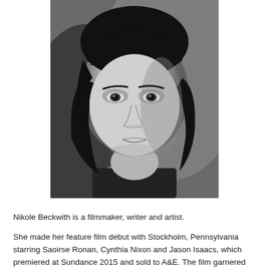[Figure (photo): Black and white close-up portrait photograph of a young woman with dark bangs, looking directly at the camera with a neutral expression.]
Nikole Beckwith is a filmmaker, writer and artist.
She made her feature film debut with Stockholm, Pennsylvania starring Saoirse Ronan, Cynthia Nixon and Jason Isaacs, which premiered at Sundance 2015 and sold to A&E. The film garnered Nikole a Women's Image Award for